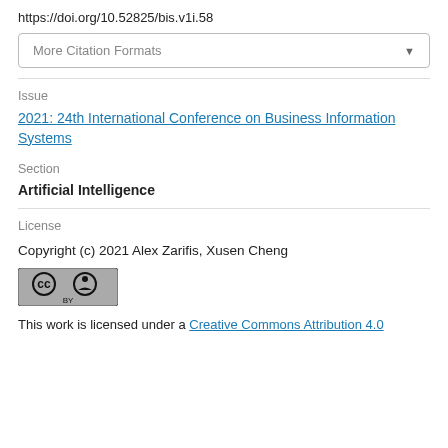https://doi.org/10.52825/bis.v1i.58
[Figure (other): More Citation Formats dropdown button]
Issue
2021: 24th International Conference on Business Information Systems
Section
Artificial Intelligence
License
Copyright (c) 2021 Alex Zarifis, Xusen Cheng
[Figure (logo): Creative Commons BY license badge]
This work is licensed under a Creative Commons Attribution 4.0